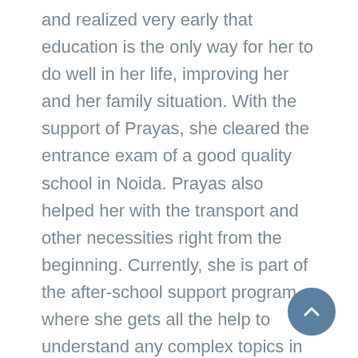and realized very early that education is the only way for her to do well in her life, improving her and her family situation. With the support of Prayas, she cleared the entrance exam of a good quality school in Noida. Prayas also helped her with the transport and other necessities right from the beginning. Currently, she is part of the after-school support program, where she gets all the help to understand any complex topics in her academics. She also gets access to value-added programs such as computer literacy, English literacy etc. One of the very well behaved child, she is well focused on academics and pursuing her passion for music at the same time. Santoshi is one of the